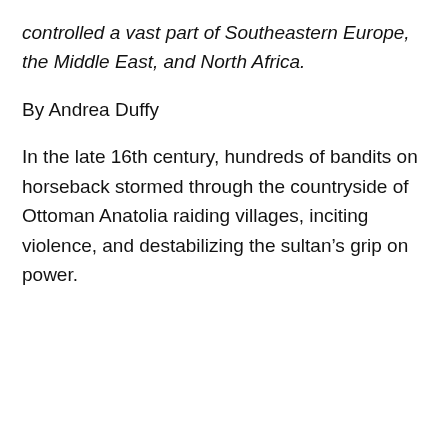controlled a vast part of Southeastern Europe, the Middle East, and North Africa.
By Andrea Duffy
In the late 16th century, hundreds of bandits on horseback stormed through the countryside of Ottoman Anatolia raiding villages, inciting violence, and destabilizing the sultan’s grip on power.